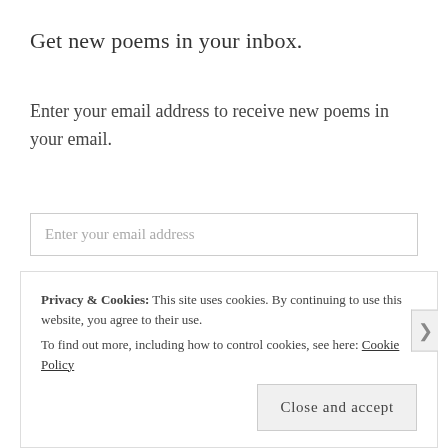Get new poems in your inbox.
Enter your email address to receive new poems in your email.
Enter your email address
SIGN UP >
Privacy & Cookies: This site uses cookies. By continuing to use this website, you agree to their use.
To find out more, including how to control cookies, see here: Cookie Policy
Close and accept